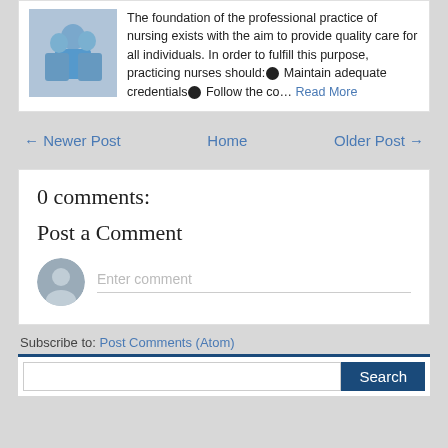The foundation of the professional practice of nursing exists with the aim to provide quality care for all individuals. In order to fulfill this purpose, practicing nurses should:◉ Maintain adequate credentials◉ Follow the co… Read More
← Newer Post   Home   Older Post →
0 comments:
Post a Comment
Enter comment
Subscribe to: Post Comments (Atom)
Search